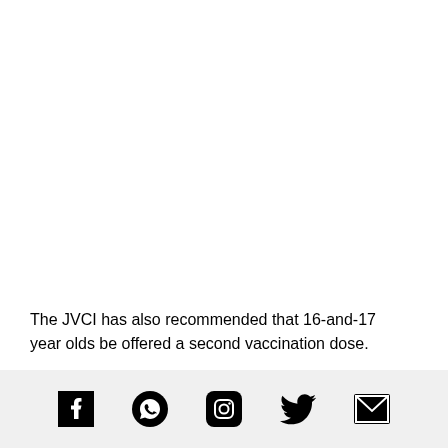The JVCI has also recommended that 16-and-17 year olds be offered a second vaccination dose.
[Figure (infographic): Social media share icons: Facebook, WhatsApp, Instagram, Twitter, Email]